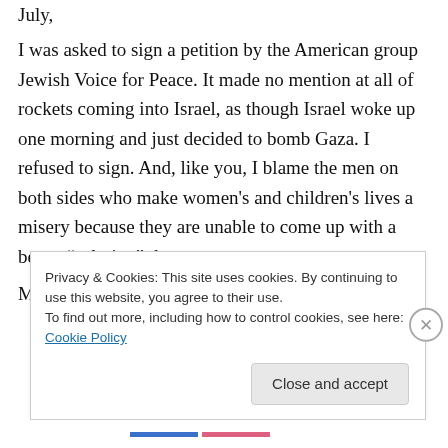July,
I was asked to sign a petition by the American group Jewish Voice for Peace. It made no mention at all of rockets coming into Israel, as though Israel woke up one morning and just decided to bomb Gaza. I refused to sign. And, like you, I blame the men on both sides who make women's and children's lives a misery because they are unable to come up with a better “solution” than war.
May this year bring us many more excellent
Privacy & Cookies: This site uses cookies. By continuing to use this website, you agree to their use.
To find out more, including how to control cookies, see here: Cookie Policy